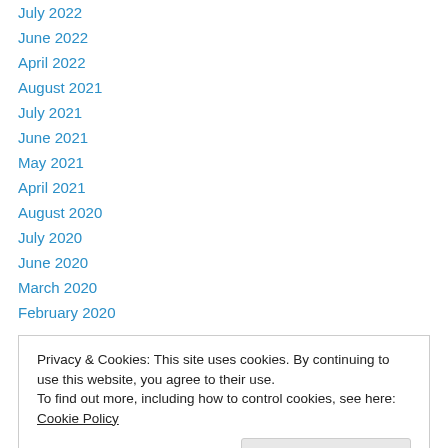July 2022
June 2022
April 2022
August 2021
July 2021
June 2021
May 2021
April 2021
August 2020
July 2020
June 2020
March 2020
February 2020
Privacy & Cookies: This site uses cookies. By continuing to use this website, you agree to their use.
To find out more, including how to control cookies, see here: Cookie Policy
October 2018